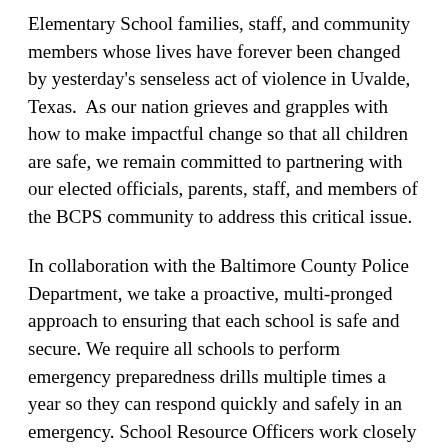Elementary School families, staff, and community members whose lives have forever been changed by yesterday's senseless act of violence in Uvalde, Texas.  As our nation grieves and grapples with how to make impactful change so that all children are safe, we remain committed to partnering with our elected officials, parents, staff, and members of the BCPS community to address this critical issue.
In collaboration with the Baltimore County Police Department, we take a proactive, multi-pronged approach to ensuring that each school is safe and secure. We require all schools to perform emergency preparedness drills multiple times a year so they can respond quickly and safely in an emergency. School Resource Officers work closely with the school administrative teams to enhance safety on Baltimore County Public Schools' property.
School counselors and staff from the BCPS Department of Student Support Services are available to help students and